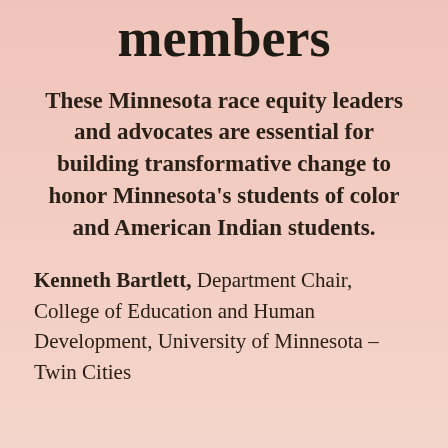members
These Minnesota race equity leaders and advocates are essential for building transformative change to honor Minnesota's students of color and American Indian students.
Kenneth Bartlett, Department Chair, College of Education and Human Development, University of Minnesota – Twin Cities